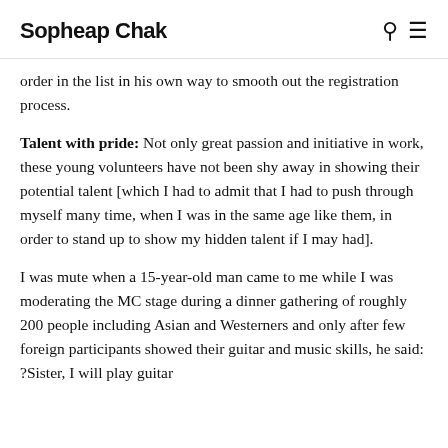Sopheap Chak
order in the list in his own way to smooth out the registration process.
Talent with pride: Not only great passion and initiative in work, these young volunteers have not been shy away in showing their potential talent [which I had to admit that I had to push through myself many time, when I was in the same age like them, in order to stand up to show my hidden talent if I may had].
I was mute when a 15-year-old man came to me while I was moderating the MC stage during a dinner gathering of roughly 200 people including Asian and Westerners and only after few foreign participants showed their guitar and music skills, he said: ?Sister, I will play guitar